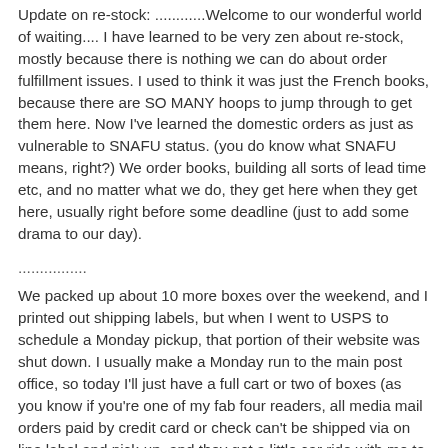Update on re-stock: ............Welcome to our wonderful world of waiting.... I have learned to be very zen about re-stock, mostly because there is nothing we can do about order fulfillment issues. I used to think it was just the French books, because there are SO MANY hoops to jump through to get them here. Now I've learned the domestic orders as just as vulnerable to SNAFU status. (you do know what SNAFU means, right?) We order books, building all sorts of lead time etc, and no matter what we do, they get here when they get here, usually right before some deadline (just to add some drama to our day).
................
We packed up about 10 more boxes over the weekend, and I printed out shipping labels, but when I went to USPS to schedule a Monday pickup, that portion of their website was shut down. I usually make a Monday run to the main post office, so today I'll just have a full cart or two of boxes (as you know if you're one of my fab four readers, all media mail orders paid by credit card or check can't be shipped via on line label and pick-up, and they get a little car ride with me to the Post Office).